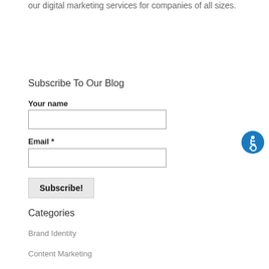our digital marketing services for companies of all sizes.
Subscribe To Our Blog
Your name
Email *
Subscribe!
Categories
Brand Identity
Content Marketing
[Figure (illustration): Blue circular accessibility icon with wheelchair symbol in white]